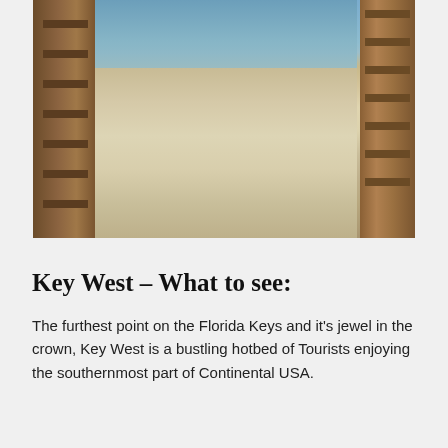[Figure (photo): A beach scene viewed from between two wooden fence/rail structures on either side. White sand is in the foreground with footprints, calm ocean water and a clear sky in the background. Golden hour lighting casts warm shadows across the sand.]
Key West – What to see:
The furthest point on the Florida Keys and it's jewel in the crown, Key West is a bustling hotbed of Tourists enjoying the southernmost part of Continental USA.